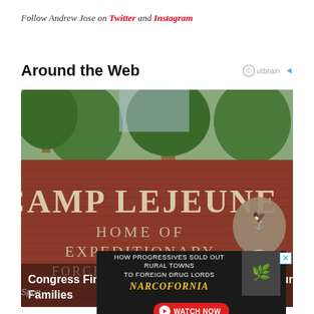Follow Andrew Jose on Twitter and Instagram
Around the Web
[Figure (photo): Camp Lejeune brick entrance sign reading 'CAMP LEJEUNE HOME OF EXPEDITIONARY FORCES IN READINESS' with Marine Corps eagle, globe, and anchor emblem, surrounded by trees]
Congress Finally Passes Billions for Camp Lejeune Families
Sponsored
[Figure (screenshot): Advertisement banner: 'HOW PROGRESSIVES SOLD OUT RURAL TOWNS TO FOREIGN DRUG LORDS' - NARCOFORNIA - WATCH NOW button]